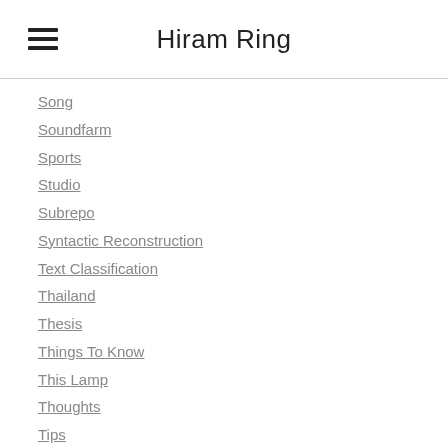Hiram Ring
Song
Soundfarm
Sports
Studio
Subrepo
Syntactic Reconstruction
Text Classification
Thailand
Thesis
Things To Know
This Lamp
Thoughts
Tips
Tone
Toolbox
Tools
Track List
Transcriber